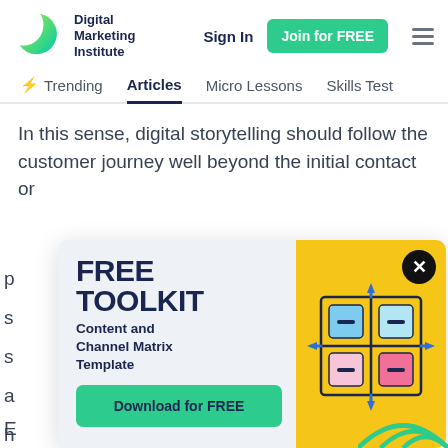Digital Marketing Institute — Sign In | Join for FREE
Trending  Articles  Micro Lessons  Skills Test
In this sense, digital storytelling should follow the customer journey well beyond the initial contact or
[Figure (infographic): FREE TOOLKIT popup modal with Content and Channel Matrix Template, Download for FREE button, and a yellow panel showing a 2x2 matrix illustration with blue/pink/teal squares and arrows. A close (X) button at top-right.]
E